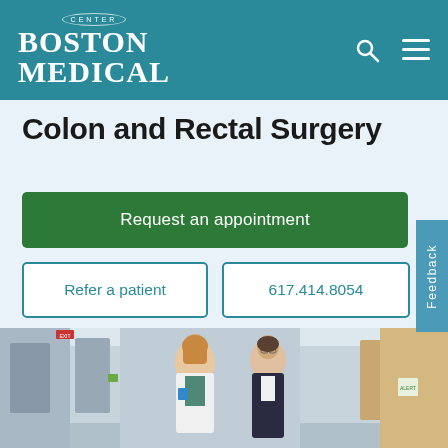Boston Medical Center
Colon and Rectal Surgery
Request an appointment
Refer a patient
617.414.8054
[Figure (photo): Two medical professionals, a woman in a white coat and a man in a dark suit, having a conversation in a hospital corridor.]
Feedback